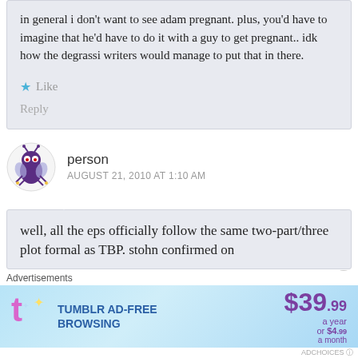in general i don't want to see adam pregnant. plus, you'd have to imagine that he'd have to do it with a guy to get pregnant.. idk how the degrassi writers would manage to put that in there.
Like
Reply
person
AUGUST 21, 2010 AT 1:10 AM
well, all the eps officially follow the same two-part/three plot formal as TBP. stohn confirmed on
Advertisements
[Figure (other): Tumblr Ad-Free Browsing advertisement banner showing $39.99 a year or $4.99 a month pricing]